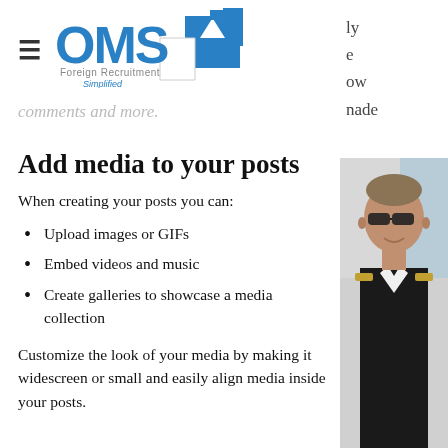[Figure (logo): OMS Foreign Recruitment Simplified logo with blue arrow icon]
comments and more.
Add media to your posts
When creating your posts you can:
Upload images or GIFs
Embed videos and music
Create galleries to showcase a media collection
Customize the look of your media by making it widescreen or small and easily align media inside your posts.
[Figure (photo): Partial photo of a man wearing sunglasses and pilot uniform on the right side of the page]